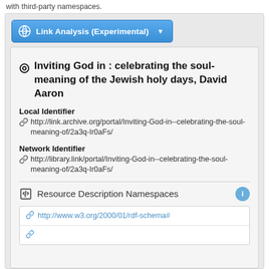with third-party namespaces.
[Figure (screenshot): Blue dropdown button labeled 'Link Analysis (Experimental)' with a globe/network icon and a dropdown arrow]
◎ Inviting God in : celebrating the soul-meaning of the Jewish holy days, David Aaron
Local Identifier
🔗 http://link.archive.org/portal/Inviting-God-in--celebrating-the-soul-meaning-of/2a3q-Ir0aFs/
Network Identifier
🔗 http://library.link/portal/Inviting-God-in--celebrating-the-soul-meaning-of/2a3q-Ir0aFs/
Resource Description Namespaces
http://www.w3.org/2000/01/rdf-schema#